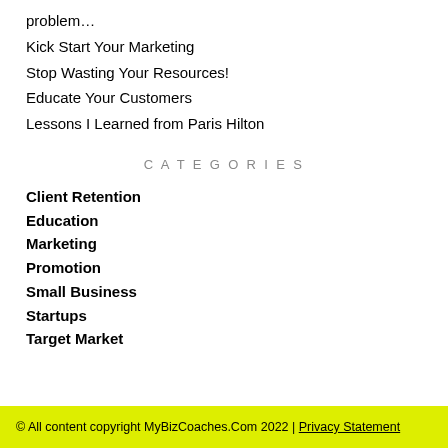problem…
Kick Start Your Marketing
Stop Wasting Your Resources!
Educate Your Customers
Lessons I Learned from Paris Hilton
CATEGORIES
Client Retention
Education
Marketing
Promotion
Small Business
Startups
Target Market
© All content copyright MyBizCoaches.Com 2022 | Privacy Statement